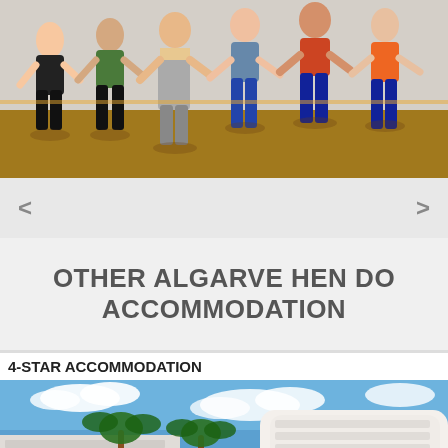[Figure (photo): Dance/fitness class with multiple people in workout clothing dancing in a studio with wooden floor]
OTHER ALGARVE HEN DO ACCOMMODATION
4-STAR ACCOMMODATION
[Figure (photo): 4-star hotel with pool, palm trees and large white multi-storey building against blue sky]